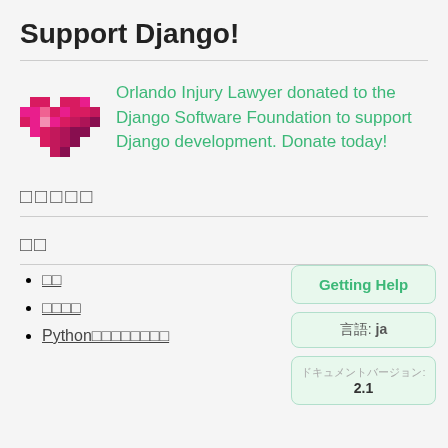Support Django!
[Figure (illustration): Pixel art heart icon in magenta/pink on light background]
Orlando Injury Lawyer donated to the Django Software Foundation to support Django development. Donate today!
□□□□□
□□
□□
□□□□
Python□□□□□□□□
Getting Help
言語: ja
ドキュメントバージョン: 2.1